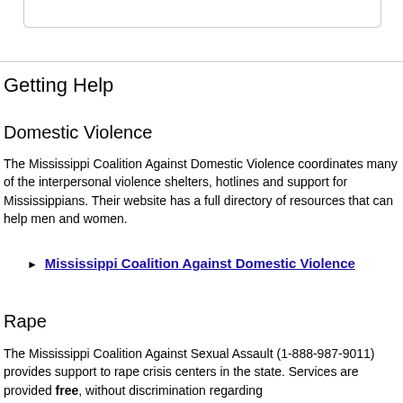Getting Help
Domestic Violence
The Mississippi Coalition Against Domestic Violence coordinates many of the interpersonal violence shelters, hotlines and support for Mississippians. Their website has a full directory of resources that can help men and women.
Mississippi Coalition Against Domestic Violence
Rape
The Mississippi Coalition Against Sexual Assault (1-888-987-9011) provides support to rape crisis centers in the state. Services are provided free, without discrimination regarding